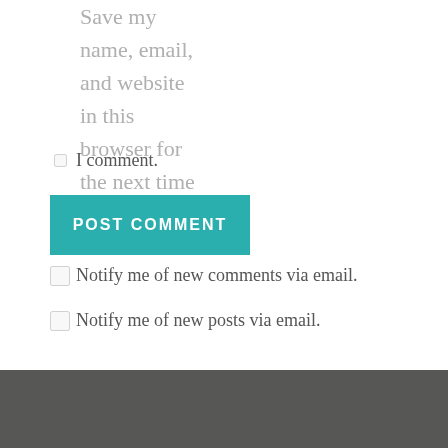Save my name, email, and website in this browser for the next time
I comment.
POST COMMENT
Notify me of new comments via email.
Notify me of new posts via email.
[Figure (other): Footer bar with four teal circular social media icons]